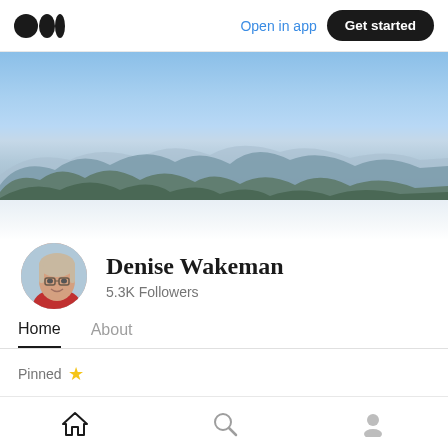Medium logo | Open in app | Get started
[Figure (photo): Banner landscape photo showing mountain range with blue sky and layered mountain silhouettes]
[Figure (photo): Circular avatar photo of Denise Wakeman, a woman with glasses]
Denise Wakeman
5.3K Followers
Home   About
Pinned ★
Home | Search | Profile (bottom navigation)